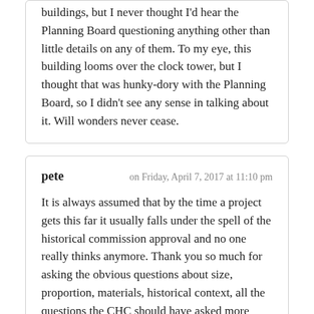buildings, but I never thought I'd hear the Planning Board questioning anything other than little details on any of them. To my eye, this building looms over the clock tower, but I thought that was hunky-dory with the Planning Board, so I didn't see any sense in talking about it. Will wonders never cease.
pete — on Friday, April 7, 2017 at 11:10 pm
It is always assumed that by the time a project gets this far it usually falls under the spell of the historical commission approval and no one really thinks anymore. Thank you so much for asking the obvious questions about size, proportion, materials, historical context, all the questions the CHC should have asked more pointedly instead of having private meetings.